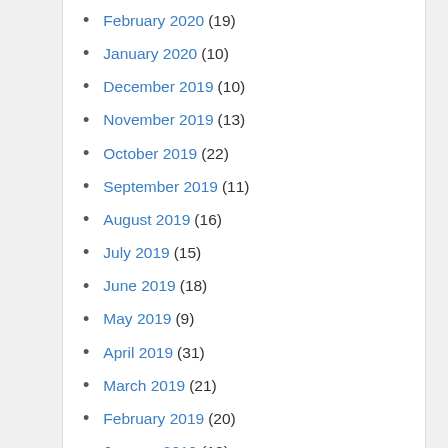February 2020 (19)
January 2020 (10)
December 2019 (10)
November 2019 (13)
October 2019 (22)
September 2019 (11)
August 2019 (16)
July 2019 (15)
June 2019 (18)
May 2019 (9)
April 2019 (31)
March 2019 (21)
February 2019 (20)
January 2019 (12)
December 2018 (24)
November 2018 (25)
October 2018 (27)
September 2018 (28)